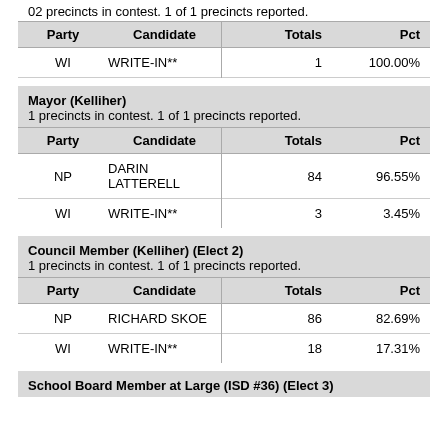02 precincts in contest. 1 of 1 precincts reported.
| Party | Candidate | Totals | Pct |
| --- | --- | --- | --- |
| WI | WRITE-IN** | 1 | 100.00% |
Mayor (Kelliher)
1 precincts in contest. 1 of 1 precincts reported.
| Party | Candidate | Totals | Pct |
| --- | --- | --- | --- |
| NP | DARIN LATTERELL | 84 | 96.55% |
| WI | WRITE-IN** | 3 | 3.45% |
Council Member (Kelliher) (Elect 2)
1 precincts in contest. 1 of 1 precincts reported.
| Party | Candidate | Totals | Pct |
| --- | --- | --- | --- |
| NP | RICHARD SKOE | 86 | 82.69% |
| WI | WRITE-IN** | 18 | 17.31% |
School Board Member at Large (ISD #36) (Elect 3)